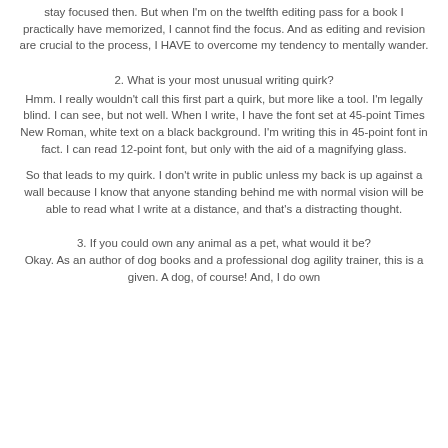stay focused then. But when I'm on the twelfth editing pass for a book I practically have memorized, I cannot find the focus. And as editing and revision are crucial to the process, I HAVE to overcome my tendency to mentally wander.
2. What is your most unusual writing quirk?
Hmm. I really wouldn't call this first part a quirk, but more like a tool. I'm legally blind. I can see, but not well. When I write, I have the font set at 45-point Times New Roman, white text on a black background. I'm writing this in 45-point font in fact. I can read 12-point font, but only with the aid of a magnifying glass.
So that leads to my quirk. I don't write in public unless my back is up against a wall because I know that anyone standing behind me with normal vision will be able to read what I write at a distance, and that's a distracting thought.
3. If you could own any animal as a pet, what would it be? Okay. As an author of dog books and a professional dog agility trainer, this is a given. A dog, of course! And, I do own